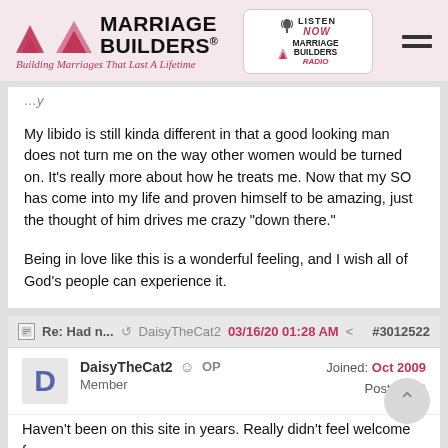Marriage Builders - Building Marriages That Last A Lifetime
My libido is still kinda different in that a good looking man does not turn me on the way other women would be turned on. It's really more about how he treats me. Now that my SO has come into my life and proven himself to be amazing, just the thought of him drives me crazy "down there."

Being in love like this is a wonderful feeling, and I wish all of God's people can experience it.
Re: Had n... DaisyTheCat2 03/16/20 01:28 AM #3012522
DaisyTheCat2 OP Joined: Oct 2009
Member Posts: 412

Haven't been on this site in years. Really didn't feel welcome for